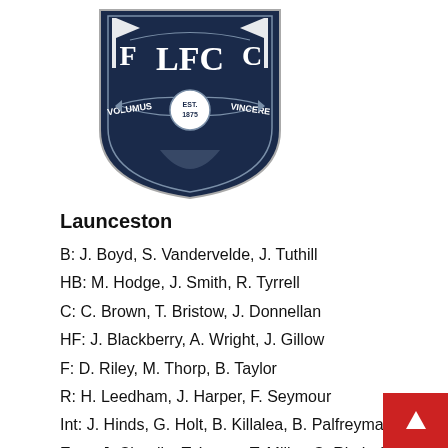[Figure (logo): Launceston Football Club crest — navy blue shield with F, LFC, C lettering, flags, banner reading VOLUMUS VINCERE, circular badge EST. 1875]
Launceston
B: J. Boyd, S. Vandervelde, J. Tuthill
HB: M. Hodge, J. Smith, R. Tyrrell
C: C. Brown, T. Bristow, J. Donnellan
HF: J. Blackberry, A. Wright, J. Gillow
F: D. Riley, M. Thorp, B. Taylor
R: H. Leedham, J. Harper, F. Seymour
Int: J. Hinds, G. Holt, B. Killalea, B. Palfreyman
Emg: J. Chaplin, T. Lucas, T. Miller, C. Riethoff